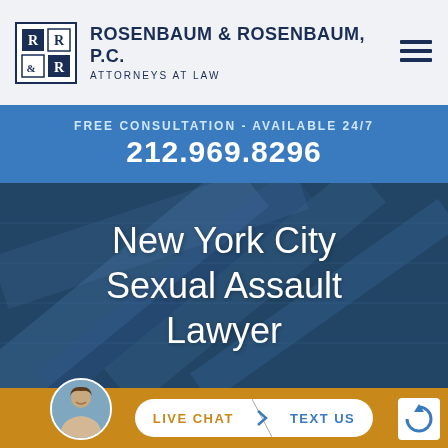[Figure (logo): Rosenbaum & Rosenbaum P.C. law firm logo with R&R initials in a bordered square]
ROSENBAUM & ROSENBAUM, P.C. ATTORNEYS AT LAW
FREE CONSULTATION - AVAILABLE 24/7
212.969.8296
New York City Sexual Assault Lawyer
LIVE CHAT  TEXT US